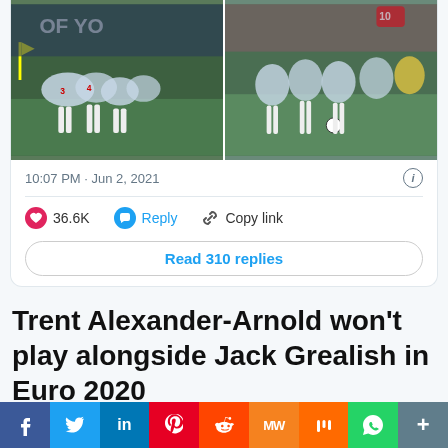[Figure (screenshot): Two football match photos side by side showing England players celebrating and dribbling]
10:07 PM · Jun 2, 2021
36.6K   Reply   Copy link
Read 310 replies
Trent Alexander-Arnold won't play alongside Jack Grealish in Euro 2020
[Figure (photo): Photo of England manager and players]
[Figure (infographic): Social media share bar with Facebook, Twitter, LinkedIn, Pinterest, Reddit, MW, Mix, WhatsApp, More buttons]